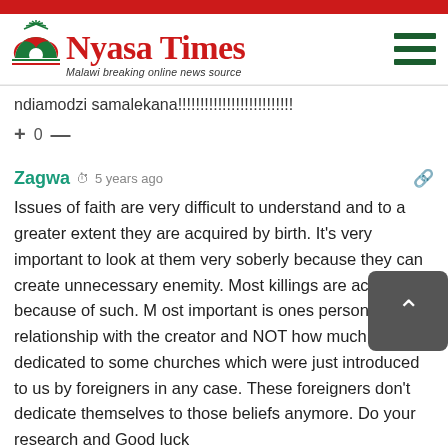Nyasa Times - Malawi breaking online news source
ndiamodzi samalekana!!!!!!!!!!!!!!!!!!!!!!!!!!
+ 0 —
Zagwa  5 years ago
Issues of faith are very difficult to understand and to a greater extent they are acquired by birth. It's very important to look at them very soberly because they can create unnecessary enemity. Most killings are actually because of such. Most important is ones personal relationship with the creator and NOT how much you are dedicated to some churches which were just introduced to us by foreigners in any case. These foreigners don't dedicate themselves to those beliefs anymore. Do your research and Good luck
+ 0 —